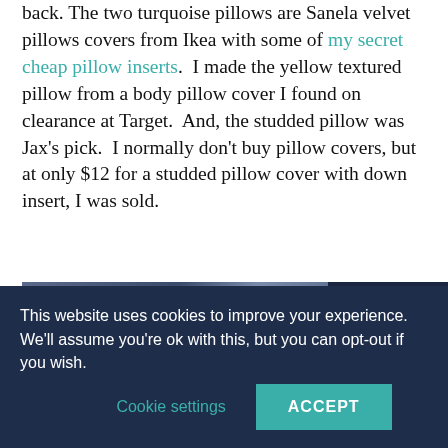back. The two turquoise pillows are Sanela velvet pillows covers from Ikea with some of my secret cheap pillow inserts.  I made the yellow textured pillow from a body pillow cover I found on clearance at Target.  And, the studded pillow was Jax's pick.  I normally don't buy pillow covers, but at only $12 for a studded pillow cover with down insert, I was sold.
[Figure (photo): Partial view of pillows/bedroom scene with dark blue background, partially obscured by cookie consent banner]
This website uses cookies to improve your experience. We'll assume you're ok with this, but you can opt-out if you wish.  Cookie settings  ACCEPT